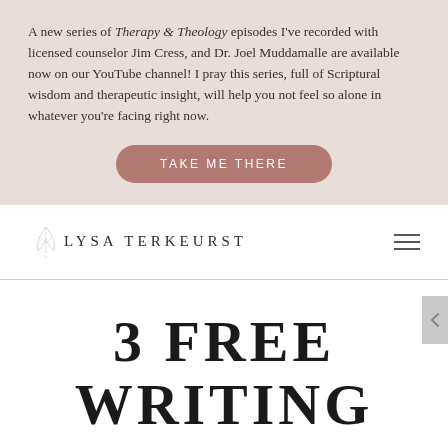A new series of Therapy & Theology episodes I've recorded with licensed counselor Jim Cress, and Dr. Joel Muddamalle are available now on our YouTube channel! I pray this series, full of Scriptural wisdom and therapeutic insight, will help you not feel so alone in whatever you're facing right now.
TAKE ME THERE
LYSA TERKEURST
3 FREE WRITING RESOURCES
September 5, 2013